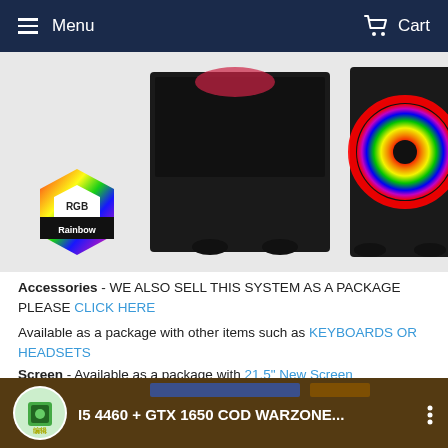Menu  Cart
[Figure (photo): Two black PC gaming tower cases side by side with RGB rainbow fans glowing in multicolor. RGB Rainbow hexagon badge logo on the left side.]
Accessories - WE ALSO SELL THIS SYSTEM AS A PACKAGE PLEASE CLICK HERE
Available as a package with other items such as KEYBOARDS OR HEADSETS
Screen - Available as a package with 21.5" New Screen
Graphics Card -
GTX 1650 4GB
[Figure (screenshot): YouTube video thumbnail showing a gaming video titled 'I5 4460 + GTX 1650 COD WARZONE...' with a channel icon on the left and three-dot menu on the right.]